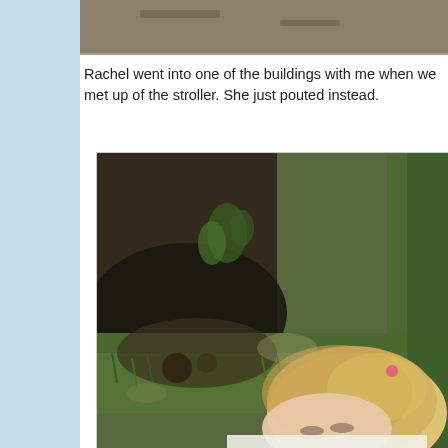[Figure (photo): Partial top photo showing dirt/ground, cropped at top of page]
Rachel went into one of the buildings with me when we met up of the stroller. She just pouted instead.
[Figure (photo): Photo of a young blonde girl with a pink hair clip, sitting near a tree base with grass and rocks around her, looking downward]